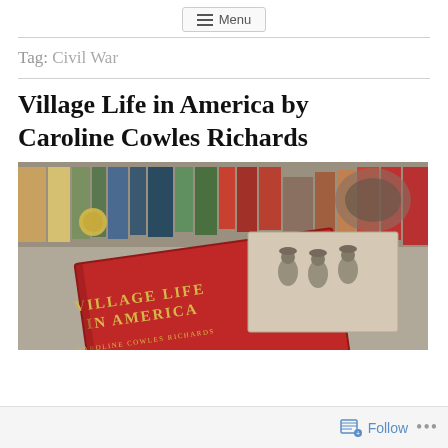Menu
Tag: Civil War
Village Life in America by Caroline Cowles Richards
[Figure (photo): A red book titled 'Village Life in America by Caroline Cowles Richards' propped against other books, with a black-and-white historical photograph of soldiers visible behind it, and a horseshoe in the background.]
Follow ...